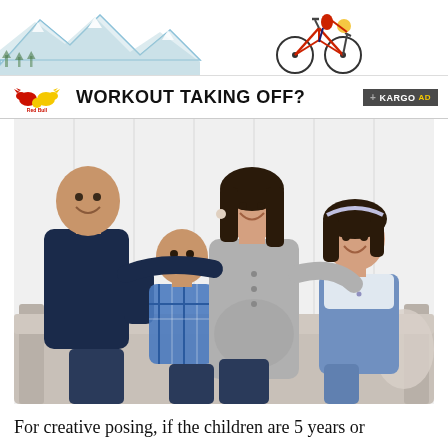[Figure (illustration): Advertisement banner with illustrated mountain landscape and cyclist on a bicycle at the top, Red Bull logo and text 'WORKOUT TAKING OFF?' with Kargo AD badge]
[Figure (photo): Family portrait photo of four people — a man, a woman, a young boy, and a girl — sitting together on a couch smiling. The woman appears to be pregnant.]
For creative posing, if the children are 5 years or